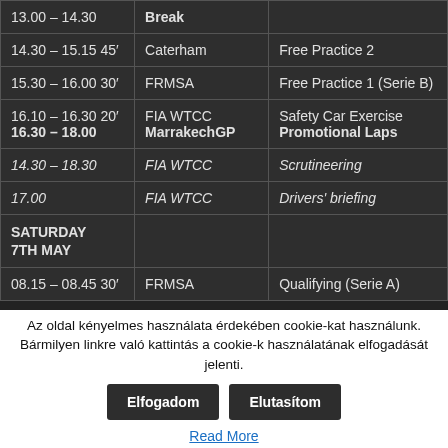| Time | Series | Session |
| --- | --- | --- |
| 13.00 – 14.30 | Break |  |
| 14.30 – 15.15 45′ | Caterham | Free Practice 2 |
| 15.30 – 16.00 30′ | FRMSA | Free Practice 1 (Serie B) |
| 16.10 – 16.30 20′ | FIA WTCC | Safety Car Exercise |
| 16.30 – 18.00 | MarrakechGP | Promotional Laps |
| 14.30 – 18.30 | FIA WTCC | Scrutineering |
| 17.00 | FIA WTCC | Drivers' briefing |
| SATURDAY 7TH MAY |  |  |
| 08.15 – 08.45 30′ | FRMSA | Qualifying (Serie A) |
Az oldal kényelmes használata érdekében cookie-kat használunk. Bármilyen linkre való kattintás a cookie-k használatának elfogadását jelenti.
Elfogadom | Elutasítom
Read More